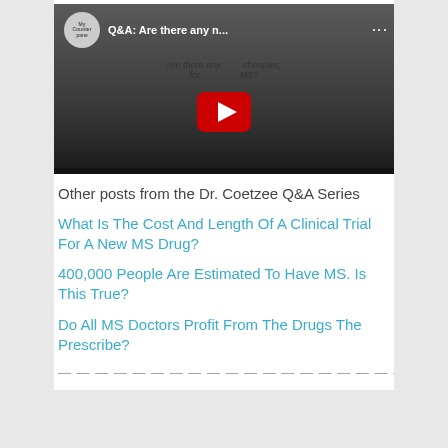[Figure (screenshot): YouTube video thumbnail for 'Q&A: Are there any n...' from MyCounterpane channel, showing a gray background with YouTube play button]
Other posts from the Dr. Coetzee Q&A Series
What Is The Cost And Length Of A Clinical Trial For A New MS Drug?
400,000 People Are Estimated To Have MS. Is This True?
Do All MS Doctors Profit From The Drugs The Prescribe?
— — — — — — — — — — — — — — — — — — — — —